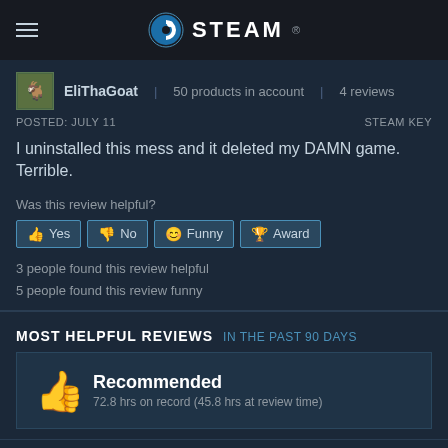STEAM
EliThaGoat | 50 products in account | 4 reviews
POSTED: JULY 11   STEAM KEY
I uninstalled this mess and it deleted my DAMN game. Terrible.
Was this review helpful?
3 people found this review helpful
5 people found this review funny
MOST HELPFUL REVIEWS IN THE PAST 90 DAYS
Recommended
72.8 hrs on record (45.8 hrs at review time)
elevator music.mp3 | 132 products in account | 102 reviews